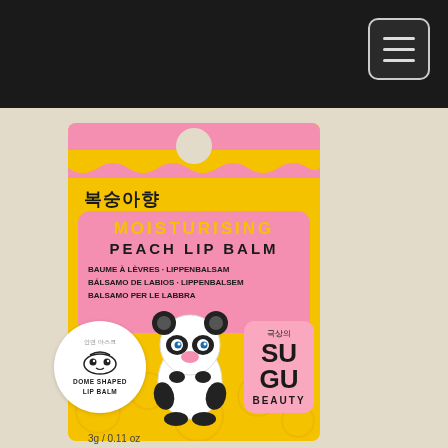[Figure (photo): Product photo of SUGU Beauty Moisturising Peach Lip Balm in yellow and pink packaging with panda-shaped dome lip balm. Korean text reads 복숭아향. Pink label shows MOISTURISING PEACH LIP BALM with multilingual translations. Circle badge reads DOME SHAPED LIP BALM. Brand logo reads 극상의 SU GU BEAUTY. Size: 3g / 0.11 oz]